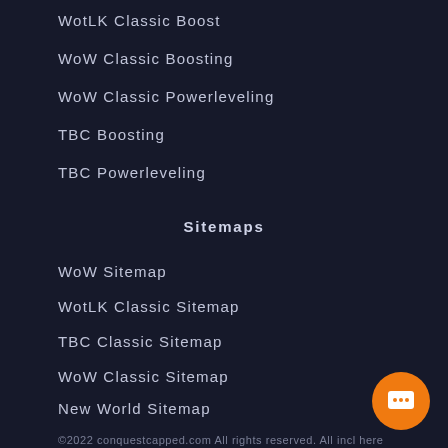WotLK Classic Boost
WoW Classic Boosting
WoW Classic Powerleveling
TBC Boosting
TBC Powerleveling
Sitemaps
WoW Sitemap
WotLK Classic Sitemap
TBC Classic Sitemap
WoW Classic Sitemap
New World Sitemap
©2022 conquestcapped.com All rights reserved. All incl here mentioned brand names are registered and proper respective companies and are only used for product desc